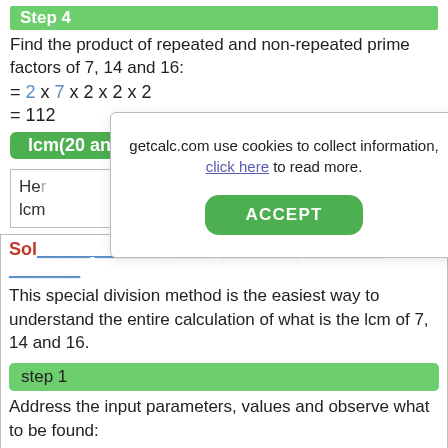Step 4
Find the product of repeated and non-repeated prime factors of 7, 14 and 16:
lcm(20 and 30) = 112
Here... lcm...
[Figure (screenshot): Cookie consent modal overlay with text 'getcalc.com use cookies to collect information, click here to read more.' and an ACCEPT button]
Solved example using Special Division Method:
This special division method is the easiest way to understand the entire calculation of what is the lcm of 7, 14 and 16.
step 1
Address the input parameters, values and observe what to be found: